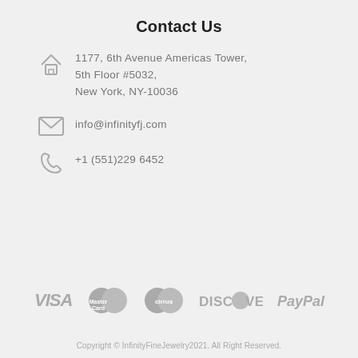Contact Us
1177, 6th Avenue Americas Tower, 5th Floor #5032, New York, NY-10036
info@infinityfj.com
+1 (551)229 6452
[Figure (logo): Payment method logos: VISA, MasterCard, Cirrus, DISCOVER, PayPal]
Copyright © InfinityFineJewelry2021. All Right Reserved.